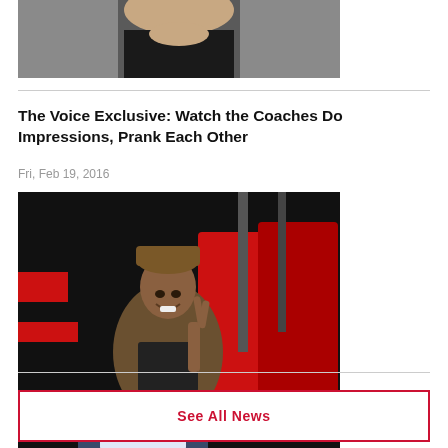[Figure (photo): Partial photo of a person in a black outfit, cropped at the top of the page]
The Voice Exclusive: Watch the Coaches Do Impressions, Prank Each Other
Fri, Feb 19, 2016
[Figure (photo): Person sitting in a coach chair on The Voice set with red chairs, making a peace sign, wearing a brown jacket and hat]
See All News